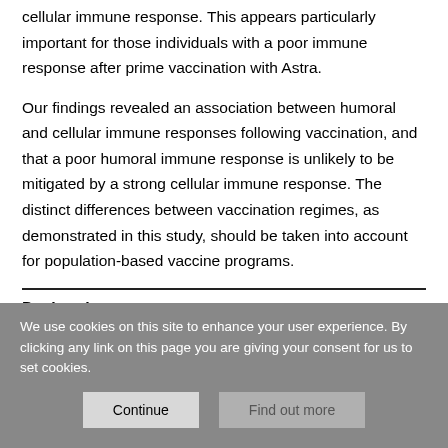cellular immune response. This appears particularly important for those individuals with a poor immune response after prime vaccination with Astra.
Our findings revealed an association between humoral and cellular immune responses following vaccination, and that a poor humoral immune response is unlikely to be mitigated by a strong cellular immune response. The distinct differences between vaccination regimes, as demonstrated in this study, should be taken into account for population-based vaccine programs.
Declarations
We use cookies on this site to enhance your user experience. By clicking any link on this page you are giving your consent for us to set cookies.